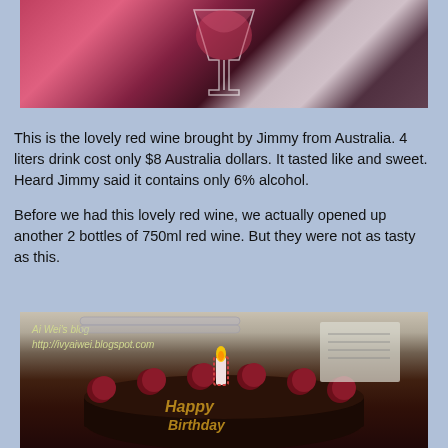[Figure (photo): Photo of a red cocktail or wine glass with red liquid, on a reddish background]
This is the lovely red wine brought by Jimmy from Australia. 4 liters drink cost only $8 Australia dollars. It tasted like and sweet. Heard Jimmy said it contains only 6% alcohol.
Before we had this lovely red wine, we actually opened up another 2 bottles of 750ml red wine. But they were not as tasty as this.
[Figure (photo): Photo of a birthday cake decorated with cherries and a lit candle, with watermark text 'Ai Wei's blog http://ivyaiwei.blogspot.com']